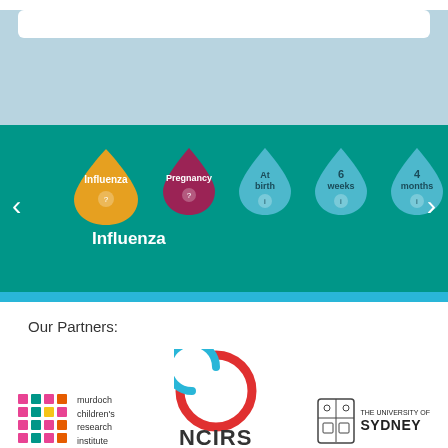[Figure (screenshot): Top light blue banner with white rounded rectangle search bar]
[Figure (infographic): Green immunisation schedule carousel showing vaccine drop icons: Influenza (gold), Pregnancy (dark pink), At birth (light blue), 6 weeks (light blue), 4 months (light blue) with navigation arrows. Selected: Influenza label below.]
Our Partners:
[Figure (logo): Murdoch Children's Research Institute logo with coloured grid squares and text]
[Figure (logo): NCIRS - National Centre for Immunisation Research and Surveillance logo with red/blue spiral]
[Figure (logo): The University of Sydney logo with shield and text]